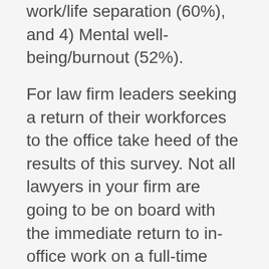work/life separation (60%), and 4) Mental well-being/burnout (52%).
For law firm leaders seeking a return of their workforces to the office take heed of the results of this survey. Not all lawyers in your firm are going to be on board with the immediate return to in-office work on a full-time basis. In order to retain talent and ensure the continued success of your firm in the months following the pandemic, it's important to ensure that you understand and address the valid concerns and preferences of your firm's